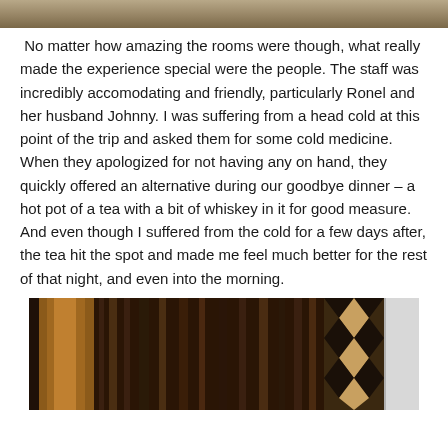[Figure (photo): Top portion of a photo, partially cropped, showing an outdoor or room scene with warm tones.]
No matter how amazing the rooms were though, what really made the experience special were the people. The staff was incredibly accomodating and friendly, particularly Ronel and her husband Johnny. I was suffering from a head cold at this point of the trip and asked them for some cold medicine. When they apologized for not having any on hand, they quickly offered an alternative during our goodbye dinner – a hot pot of a tea with a bit of whiskey in it for good measure. And even though I suffered from the cold for a few days after, the tea hit the spot and made me feel much better for the rest of that night, and even into the morning.
[Figure (photo): Bottom photo showing dark wooden surfaces and a patterned textile/rug with geometric designs, warm amber lighting, and a white wall on the right.]